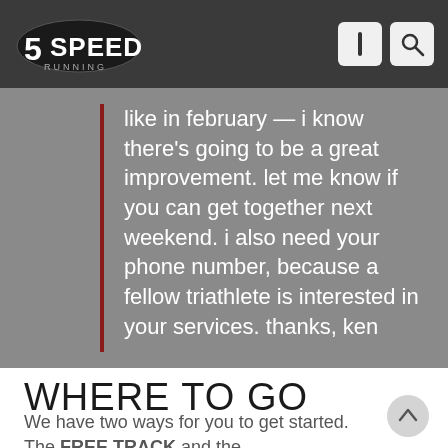5SPEED
like in february — i know there’s going to be a great improvement. let me know if you can get together next weekend. i also need your phone number, because a fellow triathlete is interested in your services. thanks, ken
WHERE TO GO FROM HERE?
We have two ways for you to get started. The FREE TRACK and the